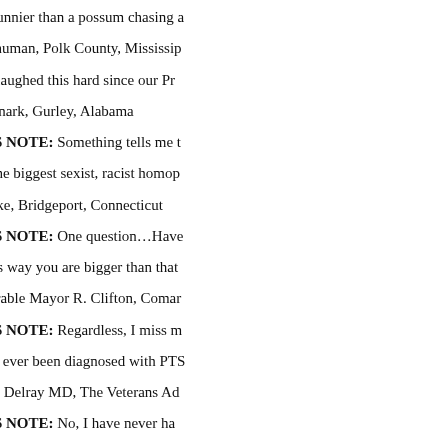“You are funnier than a possum chasing a
Skeetch Shuman, Polk County, Mississip
“I haven’t laughed this hard since our Pr
Boo’jum Snark, Gurley, Alabama
EDITORS NOTE: Something tells me t
“You are the biggest sexist, racist homop
Nancy Dyke, Bridgeport, Connecticut
EDITORS NOTE: One question…Have
“Down this way you are bigger than that
The Honorable Mayor R. Clifton, Comar
EDITORS NOTE: Regardless, I miss m
“Have you ever been diagnosed with PTS
Dr. Julia P. Delray MD, The Veterans Ad
EDITORS NOTE: No, I have never ha